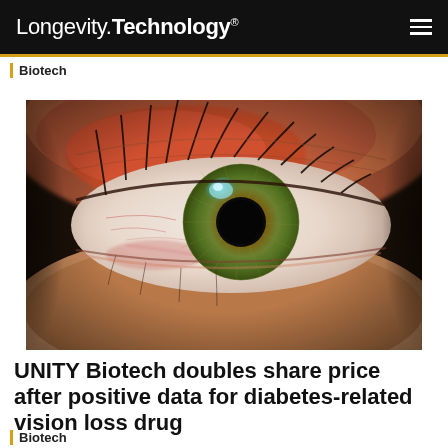Longevity.Technology®
Biotech
[Figure (photo): Extreme close-up macro photograph of a human eye showing iris detail with green-yellow coloring, dark pupil, red eyelid tissues, and eyelashes against a dark background]
UNITY Biotech doubles share price after positive data for diabetes-related vision loss drug
Biotech